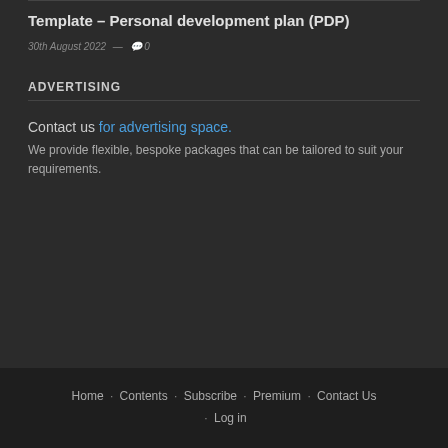Template – Personal development plan (PDP)
30th August 2022 — 0
ADVERTISING
Contact us for advertising space.
We provide flexible, bespoke packages that can be tailored to suit your requirements.
Home · Contents · Subscribe · Premium · Contact Us · Log in